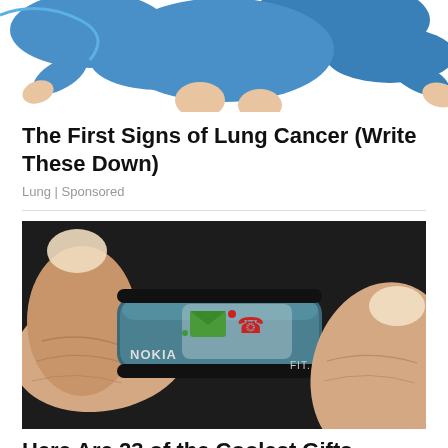[Figure (illustration): Partial view of a blue illustrated figure (person running/exercising), shown from waist down, on white background — cropped at top of page]
The First Signs of Lung Cancer (Write These Down)
Lung | Sponsored
[Figure (photo): Close-up photo of a finger wearing a small Nokia FIT ring-style device with message and phone icons on a dark textured surface]
Here Are 23 of the Coolest Gifts for Th...